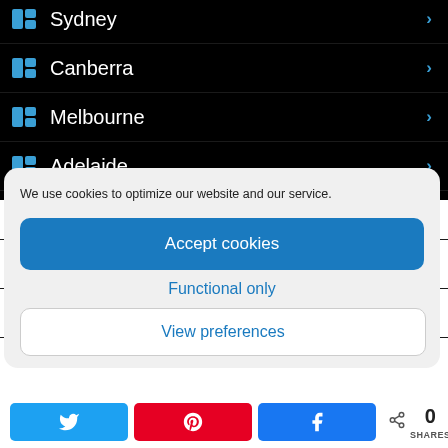Sydney
Canberra
Melbourne
Adelaide
Hobart
Perth
Darwin
We use cookies to optimize our website and our service.
Accept cookies
Functional only
View preferences
0 SHARES